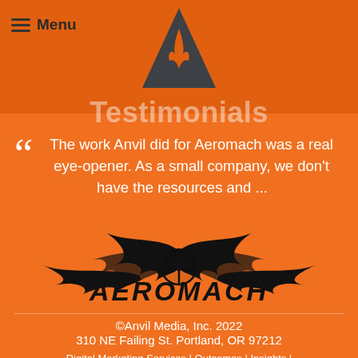Menu
[Figure (logo): Anvil Media logo: dark gray triangle with orange flame inside]
Testimonials
"The work Anvil did for Aeromach was a real eye-opener. As a small company, we don't have the resources and ...
[Figure (logo): Aeromach logo: stylized tribal flame wings with a helmet/sword emblem in the center, and AEROMACH text below in bold stylized font]
©Anvil Media, Inc. 2022
310 NE Failing St. Portland, OR 97212
Digital Marketing Services | Outcomes | Insights | About | Contact | Legal